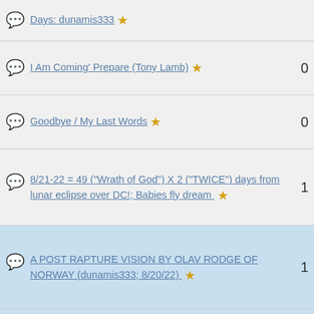Days: dunamis333 ★
I Am Coming' Prepare (Tony Lamb) ★  0
Goodbye / My Last Words ★  0
8/21-22 = 49 ("Wrath of God") X 2 ("TWICE") days from lunar eclipse over DC!; Babies fly dream ★  1
A POST RAPTURE VISION BY OLAV RODGE OF NORWAY (dunamis333; 8/20/22) ★  1
Put God First - Denzel Washington Motivational & Inspiring Commencement Speech ★  4
t "things will escalate in mid-August." ★  1